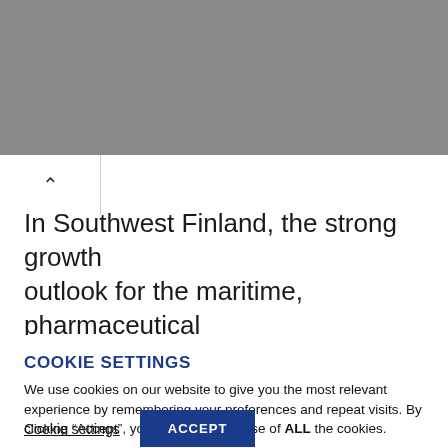[Figure (other): Gray banner/header area at the top of the page]
^ (navigation chevron/collapse icon)
In Southwest Finland, the strong growth outlook for the maritime, pharmaceutical
COOKIE SETTINGS
We use cookies on our website to give you the most relevant experience by remembering your preferences and repeat visits. By clicking “Accept”, you consent to the use of ALL the cookies.
Cookie settings | ACCEPT